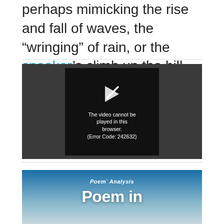perhaps mimicking the rise and fall of waves, the “wringing” of rain, or the speaker’s climb up the hill.
[Figure (screenshot): Video player showing an error message: 'The video cannot be played in this browser. (Error Code: 242632)' with a play icon with an X through it, on a dark background.]
[Figure (screenshot): Poem Analysis website banner with logo 'Poem Analysis' and large white text 'Poem in' over a blue/sky background image.]